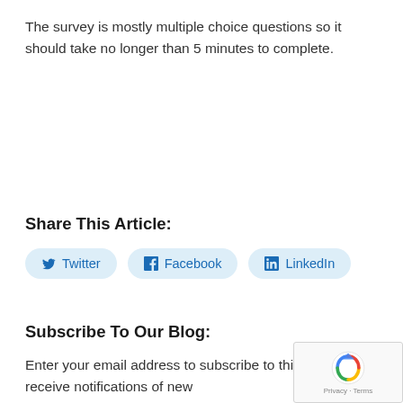The survey is mostly multiple choice questions so it should take no longer than 5 minutes to complete.
Share This Article:
Twitter  Facebook  LinkedIn
Subscribe To Our Blog:
Enter your email address to subscribe to this blog and receive notifications of new